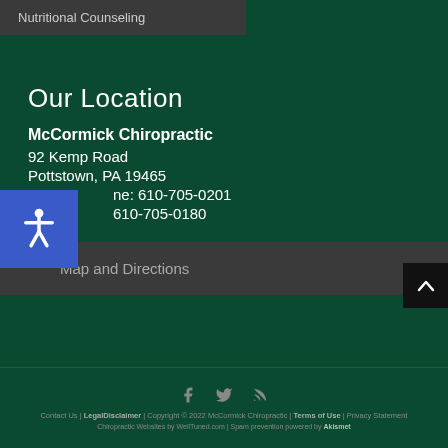Nutritional Counseling
Our Location
McCormick Chiropractic
92 Kemp Road
Pottstown, PA 19465
Phone: 610-705-0201
Fax: 610-705-0180
Map and Directions
Contact Us | LegalDisclaimer | Copyright © 2022 McCormick Chiropractic | Terms of Use | Privacy Statement
Chiropractic Websites by WellTuned.com | Spam prevention powered by Akismet